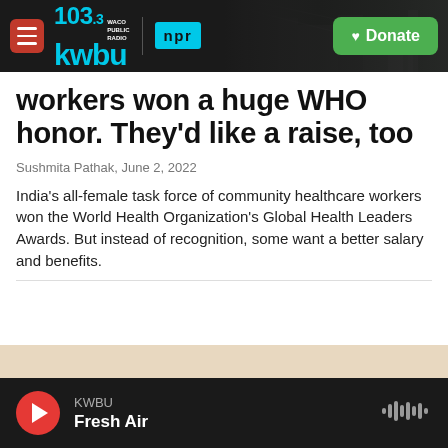KWBU 103.3 Waco Public Radio | NPR | Donate
workers won a huge WHO honor. They'd like a raise, too
Sushmita Pathak, June 2, 2022
India's all-female task force of community healthcare workers won the World Health Organization's Global Health Leaders Awards. But instead of recognition, some want a better salary and benefits.
[Figure (photo): Three men sitting together, two wearing yellow shirts, one in a grey shirt, with hair nets on, in what appears to be a food preparation or work area]
KWBU Fresh Air